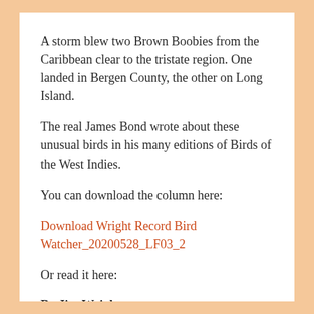A storm blew two Brown Boobies from the Caribbean clear to the tristate region. One landed in Bergen County, the other on Long Island.
The real James Bond wrote about these unusual birds in his many editions of Birds of the West Indies.
You can download the column here:
Download Wright Record Bird Watcher_20200528_LF03_2
Or read it here:
By Jim Wright
Special to The Record
This is the tale of two long-distance seabirds.
Their story began earlier this month, a nasty cold